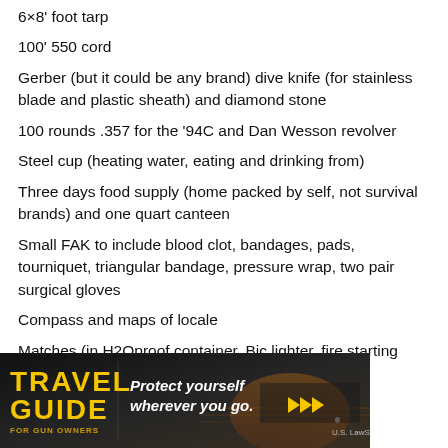6x8' foot tarp
100' 550 cord
Gerber (but it could be any brand) dive knife (for stainless blade and plastic sheath) and diamond stone
100 rounds .357 for the '94C and Dan Wesson revolver
Steel cup (heating water, eating and drinking from)
Three days food supply (home packed by self, not survival brands) and one quart canteen
Small FAK to include blood clot, bandages, pads, tourniquet, triangular bandage, pressure wrap, two pair surgical gloves
Compass and maps of locale
Matches (in H2Oproof container, Bic lighter, fire starting “goop”
[Figure (infographic): Travel Guide for Gun Owners advertisement banner. Dark background with yellow 'TRAVEL GUIDE' text on the left, tagline 'Protect yourself wherever you go.' in white italic text in the center, yellow play button arrows, and US LawShield branding on the right.]